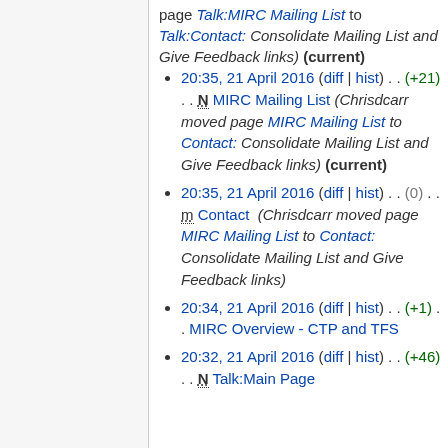page Talk:MIRC Mailing List to Talk:Contact: Consolidate Mailing List and Give Feedback links) (current)
20:35, 21 April 2016 (diff | hist) . . (+21) . . N MIRC Mailing List (Chrisdcarr moved page MIRC Mailing List to Contact: Consolidate Mailing List and Give Feedback links) (current)
20:35, 21 April 2016 (diff | hist) . . (0) . . m Contact (Chrisdcarr moved page MIRC Mailing List to Contact: Consolidate Mailing List and Give Feedback links)
20:34, 21 April 2016 (diff | hist) . . (+1) . . MIRC Overview - CTP and TFS
20:32, 21 April 2016 (diff | hist) . . (+46) . . N Talk:Main Page